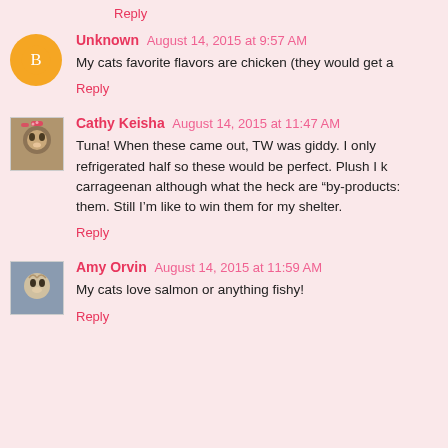Reply
Unknown August 14, 2015 at 9:57 AM
My cats favorite flavors are chicken (they would get a
Reply
Cathy Keisha August 14, 2015 at 11:47 AM
Tuna! When these came out, TW was giddy. I only refrigerated half so these would be perfect. Plush I k carrageenan although what the heck are "by-products: them. Still I'm like to win them for my shelter.
Reply
Amy Orvin August 14, 2015 at 11:59 AM
My cats love salmon or anything fishy!
Reply